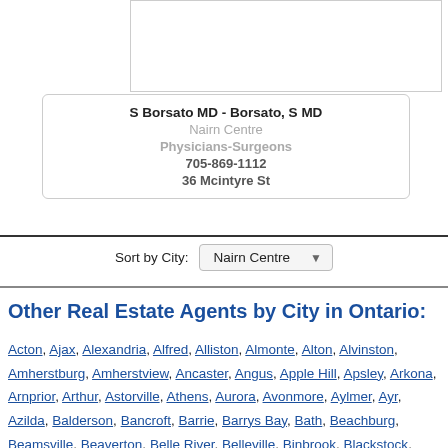[Figure (other): Partial image box at top right of page]
S Borsato MD - Borsato, S MD
Nairn Centre
Physicians-Surgeons
705-869-1112
36 Mcintyre St
Sort by City: Nairn Centre
Other Real Estate Agents by City in Ontario:
Acton, Ajax, Alexandria, Alfred, Alliston, Almonte, Alton, Alvinston, Amherstburg, Amherstview, Ancaster, Angus, Apple Hill, Apsley, Arkona, Arnprior, Arthur, Astorville, Athens, Aurora, Avonmore, Aylmer, Ayr, Azilda, Balderson, Bancroft, Barrie, Barrys Bay, Bath, Beachburg, Beamsville, Beaverton, Belle River, Belleville, Binbrook, Blackstock,